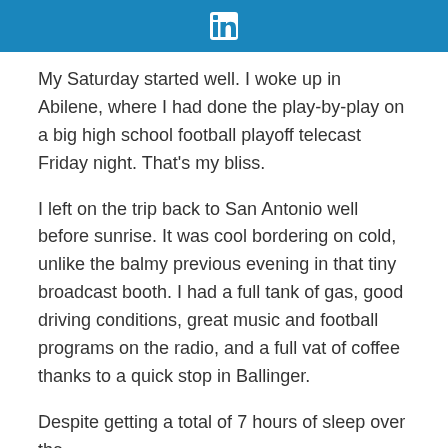LinkedIn header bar with LinkedIn logo
My Saturday started well. I woke up in Abilene, where I had done the play-by-play on a big high school football playoff telecast Friday night. That's my bliss.
I left on the trip back to San Antonio well before sunrise. It was cool bordering on cold, unlike the balmy previous evening in that tiny broadcast booth. I had a full tank of gas, good driving conditions, great music and football programs on the radio, and a full vat of coffee thanks to a quick stop in Ballinger.
Despite getting a total of 7 hours of sleep over the